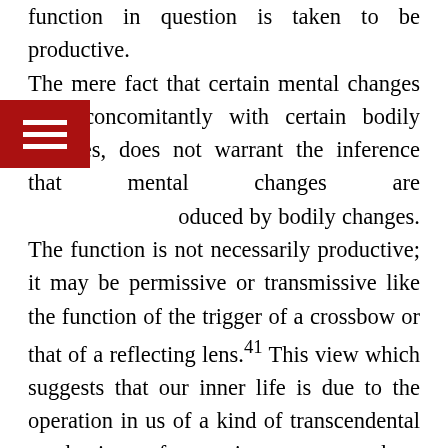function in question is taken to be productive. The mere fact that certain mental changes vary concomitantly with certain bodily changes, does not warrant the inference that mental changes are produced by bodily changes. The function is not necessarily productive; it may be permissive or transmissive like the function of the trigger of a crossbow or that of a reflecting lens.41 This view which suggests that our inner life is due to the operation in us of a kind of transcendental mechanism of consciousness, somehow choosing a physical medium for a short period of sport, does not give us any assurance of the continuance of the content of our actual experience. I have already indicated in these lectures the proper way to meet Materialism.42 Science must necessarily select for study certain specific aspects of Reality